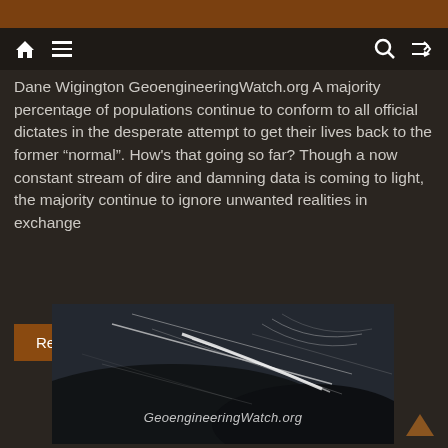Navigation bar with home, menu, search, and shuffle icons
Dane Wigington GeoengineeringWatch.org A majority percentage of populations continue to conform to all official dictates in the desperate attempt to get their lives back to the former “normal”. How's that going so far? Though a now constant stream of dire and damning data is coming to light, the majority continue to ignore unwanted realities in exchange
Read more
[Figure (photo): Aerial or satellite image showing atmospheric or geoengineering patterns with trails/streaks over a landscape, with watermark text 'GeoengineeringWatch.org']